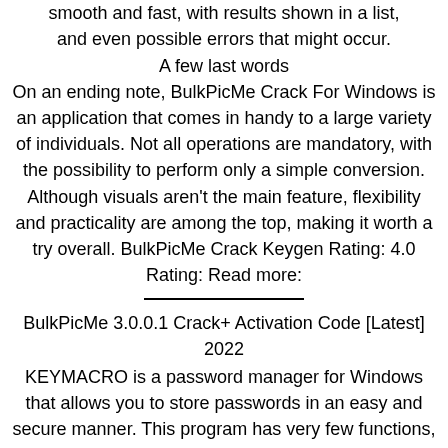smooth and fast, with results shown in a list, and even possible errors that might occur.
A few last words
On an ending note, BulkPicMe Crack For Windows is an application that comes in handy to a large variety of individuals. Not all operations are mandatory, with the possibility to perform only a simple conversion. Although visuals aren't the main feature, flexibility and practicality are among the top, making it worth a try overall. BulkPicMe Crack Keygen Rating: 4.0 Rating: Read more:
BulkPicMe 3.0.0.1 Crack+ Activation Code [Latest] 2022
KEYMACRO is a password manager for Windows that allows you to store passwords in an easy and secure manner. This program has very few functions, which are easy to learn and use. If you're looking to store a lot